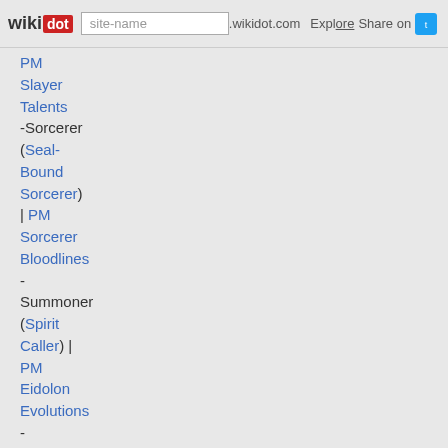wikidot | site-name .wikidot.com | Explore | Share on Twitter
PM Slayer Talents
-Sorcerer (Seal-Bound Sorcerer) | PM Sorcerer Bloodlines
- Summoner (Spirit Caller) | PM Eidolon Evolutions
- Swashbuckler (Esoteric Dilettante)
-Warpriest (Occult Scourer, Pactsworn Warpriest) | PM Warpriest Blessing